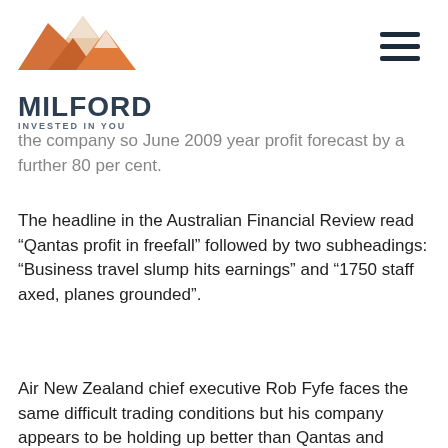[Figure (logo): Milford Asset Management logo with mountain graphic and text 'MILFORD INVESTED IN YOU']
the company so June 2009 year profit forecast by a further 80 per cent.
The headline in the Australian Financial Review read “Qantas profit in freefall” followed by two subheadings: “Business travel slump hits earnings” and “1750 staff axed, planes grounded”.
Air New Zealand chief executive Rob Fyfe faces the same difficult trading conditions but his company appears to be holding up better than Qantas and Virgin Blue, the two other Australasian listed